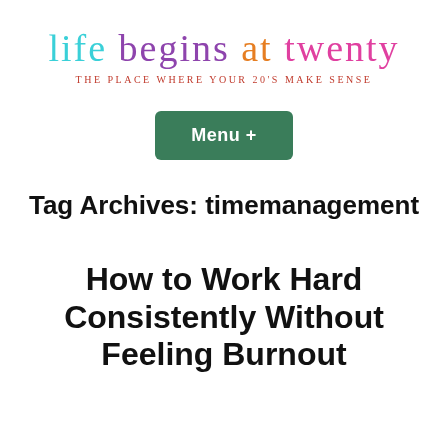life begins at twenty — THE PLACE WHERE YOUR 20'S MAKE SENSE
Menu +
Tag Archives: timemanagement
How to Work Hard Consistently Without Feeling Burnout